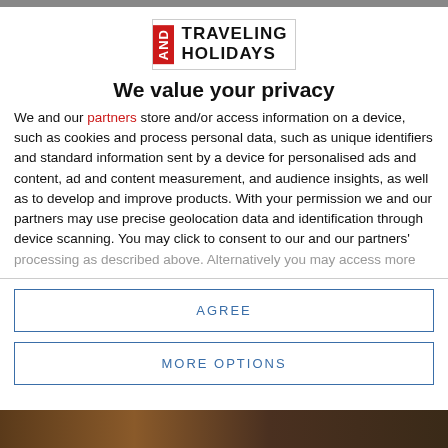[Figure (logo): AND Traveling Holidays logo — red vertical bar with 'AND' text, beside 'TRAVELING HOLIDAYS' in bold black, all in a bordered box]
We value your privacy
We and our partners store and/or access information on a device, such as cookies and process personal data, such as unique identifiers and standard information sent by a device for personalised ads and content, ad and content measurement, and audience insights, as well as to develop and improve products. With your permission we and our partners may use precise geolocation data and identification through device scanning. You may click to consent to our and our partners' processing as described above. Alternatively you may access more
AGREE
MORE OPTIONS
[Figure (photo): Bottom portion showing a dark photographic image]